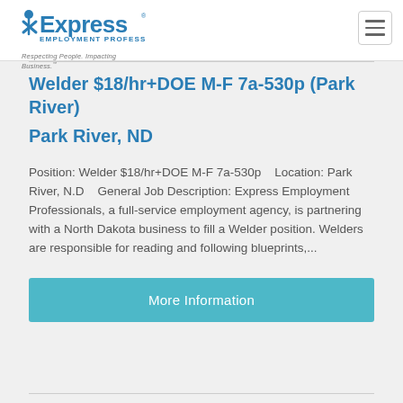[Figure (logo): Express Employment Professionals logo with tagline 'Respecting People. Impacting Business.']
Welder $18/hr+DOE M-F 7a-530p (Park River)
Park River, ND
Position: Welder $18/hr+DOE M-F 7a-530p   Location: Park River, N.D   General Job Description: Express Employment Professionals, a full-service employment agency, is partnering with a North Dakota business to fill a Welder position. Welders are responsible for reading and following blueprints,...
More Information